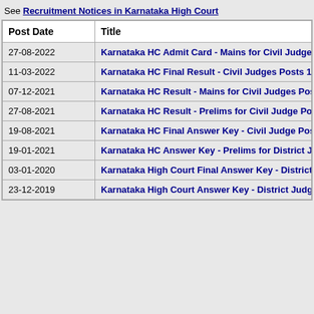See Recruitment Notices in Karnataka High Court
| Post Date | Title |
| --- | --- |
| 27-08-2022 | Karnataka HC Admit Card - Mains for Civil Judges Po... |
| 11-03-2022 | Karnataka HC Final Result - Civil Judges Posts 1/202... |
| 07-12-2021 | Karnataka HC Result - Mains for Civil Judges Posts (... |
| 27-08-2021 | Karnataka HC Result - Prelims for Civil Judge Posts ... |
| 19-08-2021 | Karnataka HC Final Answer Key - Civil Judge Posts (... |
| 19-01-2021 | Karnataka HC Answer Key - Prelims for District Judg... |
| 03-01-2020 | Karnataka High Court Final Answer Key - District Juc... |
| 23-12-2019 | Karnataka High Court Answer Key - District Judge Po... |
[Figure (screenshot): Close button (X) and video player showing 'No compatible source was found for this']